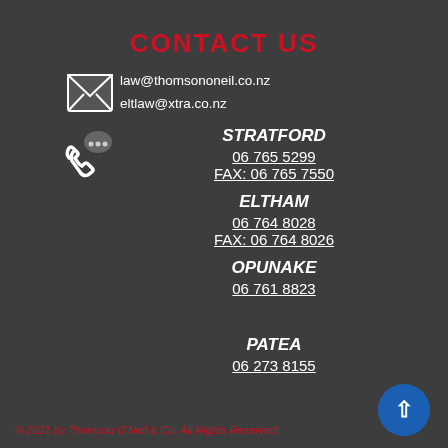CONTACT US
law@thomsononeil.co.nz
eltlaw@xtra.co.nz
STRATFORD
06 765 5299
FAX: 06 765 7550
ELTHAM
06 764 8028
FAX: 06 764 8026
OPUNAKE
06 761 8823
PATEA
06 273 8155
© 2021 by Thomson O'Neil & Co. All Rights Reserved.